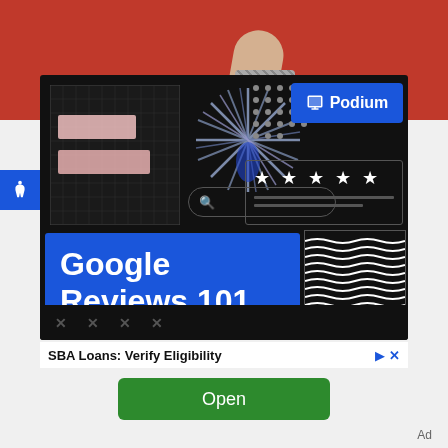[Figure (screenshot): Mobile advertisement screenshot showing a Podium 'Google Reviews 101' ad on a dark background with blue banner, star ratings, and decorative elements. Below the ad is a green 'Open' button and 'Ad' label.]
SBA Loans: Verify Eligibility
Open
Ad